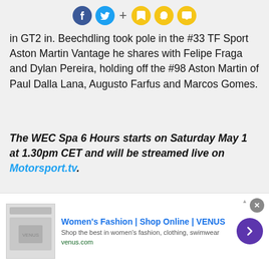[Figure (infographic): Row of social sharing icons: Facebook (blue), Twitter (cyan), plus sign, bookmark (yellow), bell (yellow), chat bubble (yellow)]
in GT2 in. Beechdling took pole in the #33 TF Sport Aston Martin Vantage he shares with Felipe Fraga and Dylan Pereira, holding off the #98 Aston Martin of Paul Dalla Lana, Augusto Farfus and Marcos Gomes.
The WEC Spa 6 Hours starts on Saturday May 1 at 1.30pm CET and will be streamed live on Motorsport.tv.
[Figure (infographic): Bottom row of social sharing icons: Facebook, Twitter, LinkedIn, plus sign, bookmark (yellow), Snapchat (yellow)]
Related video
[Figure (screenshot): Dark video thumbnail with text 'WEC: Spa – Qualifying highlights']
[Figure (infographic): Advertisement banner: Women's Fashion | Shop Online | VENUS. Shop the best in women's fashion, clothing, swimwear. venus.com]